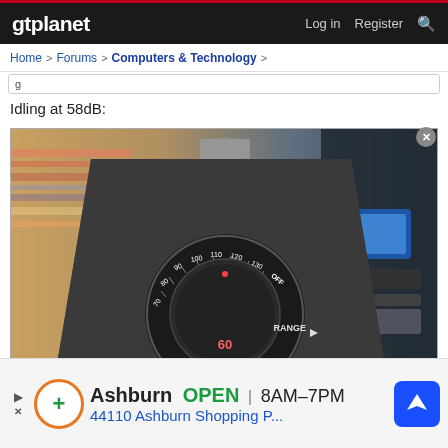gtplanet   Log in   Register   Search
Home > Forums > Computers & Technology >
[Figure (photo): Close-up photo of a sound level meter showing the RANGE dial pointed to 60, with numbers including 70, 80, 90, 100, 110, 120, 130 visible on the dial face and 'OFF' label. Background shows a blurred room with shelves and equipment.]
Idling at 58dB:
[Figure (infographic): Advertisement banner: Ashburn OPEN 8AM-7PM, 44110 Ashburn Shopping P... with orange circle logo with green plus sign, navigation arrow icon, and skip controls.]